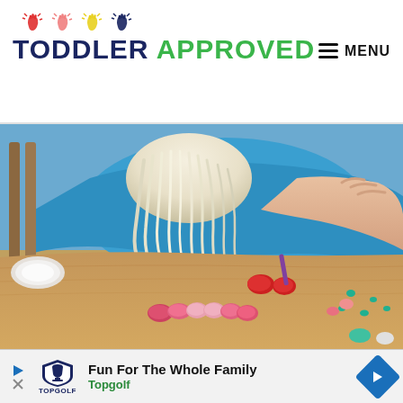TODDLER APPROVED | MENU
[Figure (photo): A young blonde child in a blue t-shirt sitting at a wooden table with small colorful clay/playdough balls arranged in front of them. Red, pink, and teal colored pieces are visible on the table. Child's hands are visible reaching over the table.]
[Figure (infographic): Advertisement banner for Topgolf with logo and text 'Fun For The Whole Family - Topgolf']